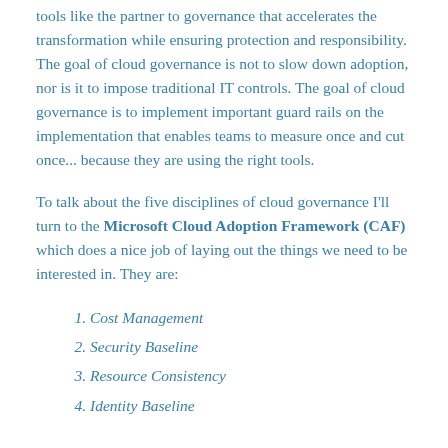tools like the partner to governance that accelerates the transformation while ensuring protection and responsibility. The goal of cloud governance is not to slow down adoption, nor is it to impose traditional IT controls. The goal of cloud governance is to implement important guard rails on the implementation that enables teams to measure once and cut once... because they are using the right tools.
To talk about the five disciplines of cloud governance I'll turn to the Microsoft Cloud Adoption Framework (CAF) which does a nice job of laying out the things we need to be interested in. They are:
1. Cost Management
2. Security Baseline
3. Resource Consistency
4. Identity Baseline